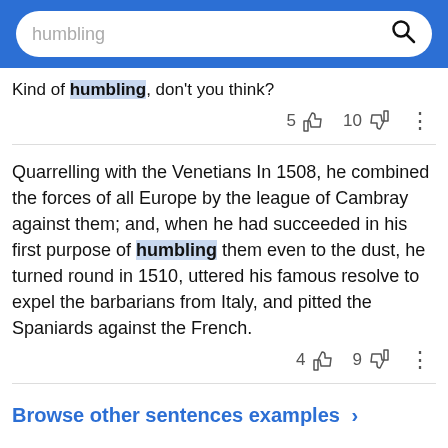humbling
Kind of humbling, don't you think?
Quarrelling with the Venetians In 1508, he combined the forces of all Europe by the league of Cambray against them; and, when he had succeeded in his first purpose of humbling them even to the dust, he turned round in 1510, uttered his famous resolve to expel the barbarians from Italy, and pitted the Spaniards against the French.
Browse other sentences examples >